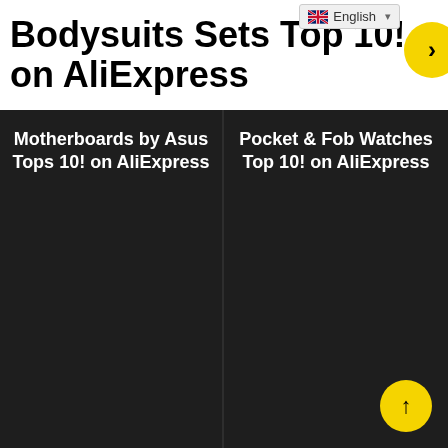English (language selector)
Bodysuits Sets Top 10! on AliExpress
Motherboards by Asus Tops 10! on AliExpress
Pocket & Fob Watches Top 10! on AliExpress